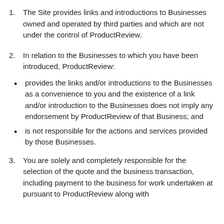1. The Site provides links and introductions to Businesses owned and operated by third parties and which are not under the control of ProductReview.
2. In relation to the Businesses to which you have been introduced, ProductReview:
• provides the links and/or introductions to the Businesses as a convenience to you and the existence of a link and/or introduction to the Businesses does not imply any endorsement by ProductReview of that Business; and
• is not responsible for the actions and services provided by those Businesses.
3. You are solely and completely responsible for the selection of the quote and the business transaction, including payment to the business for work undertaken at pursuant to ProductReview along with